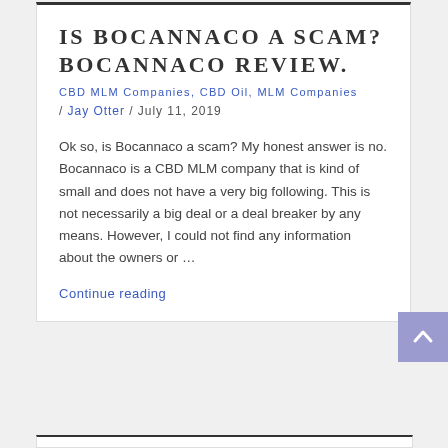IS BOCANNACO A SCAM? BOCANNACO REVIEW.
CBD MLM Companies, CBD Oil, MLM Companies
/ Jay Otter / July 11, 2019
Ok so, is Bocannaco a scam? My honest answer is no. Bocannaco is a CBD MLM company that is kind of small and does not have a very big following. This is not necessarily a big deal or a deal breaker by any means. However, I could not find any information about the owners or …
Continue reading